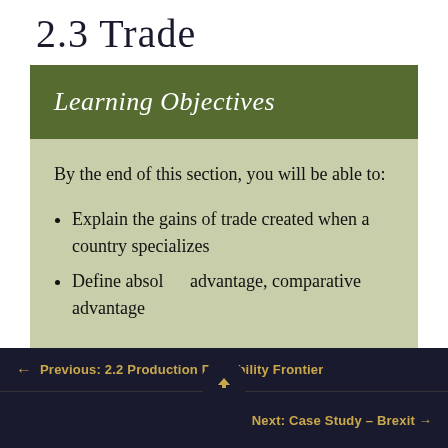2.3 Trade
Learning Objectives
By the end of this section, you will be able to:
Explain the gains of trade created when a country specializes
Define absolute advantage, comparative advantage
← Previous: 2.2 Production Possibility Frontier
Next: Case Study – Brexit →